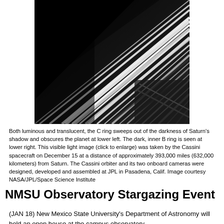[Figure (photo): Black and white close-up image of Saturn's rings, showing the C ring sweeping out of darkness and the inner B ring, taken by the Cassini spacecraft.]
Both luminous and translucent, the C ring sweeps out of the darkness of Saturn's shadow and obscures the planet at lower left. The dark, inner B ring is seen at lower right. This visible light image (click to enlarge) was taken by the Cassini spacecraft on December 15 at a distance of approximately 393,000 miles (632,000 kilometers) from Saturn. The Cassini orbiter and its two onboard cameras were designed, developed and assembled at JPL in Pasadena, Calif. Image courtesy NASA/JPL/Space Science Institute
NMSU Observatory Stargazing Event
(JAN 18) New Mexico State University's Department of Astronomy will hold an open house at the campus observatory